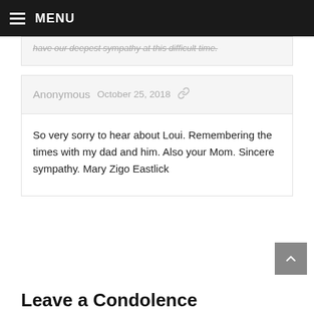MENU
have our deepest sympathy at this difficult time.
Anonymous   October 25, 2018
So very sorry to hear about Loui. Remembering the times with my dad and him. Also your Mom. Sincere sympathy. Mary Zigo Eastlick
Leave a Condolence